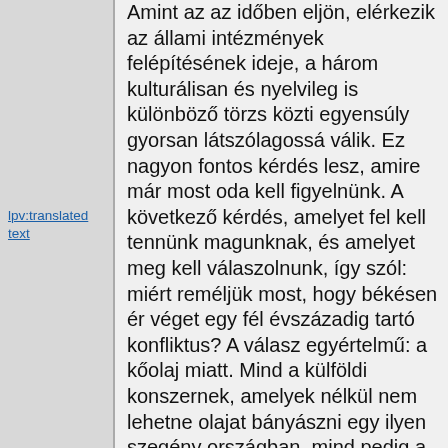Amint az az időben eljön, elérkezik az állami intézmények felépítésének ideje, a három kulturálisan és nyelvileg is különböző törzs közti egyensúly gyorsan látszólagossá válik. Ez nagyon fontos kérdés lesz, amire már most oda kell figyelnünk. A következő kérdés, amelyet fel kell tennünk magunknak, és amelyet meg kell válaszolnunk, így szól: miért reméljük most, hogy békésen ér véget egy fél évszázadig tartó konfliktus? A válasz egyértelmű: a kőolaj miatt. Mind a külföldi konszernek, amelyek nélkül nem lehetne olajat bányászni egy ilyen szegény országban, mind pedig a két országrész képviselői megérezték az olajdollárok szagát. Reméljük, hogy a kapzsiság nem vakít el minket, és segítőkészségünk nemcsak az államépítő intézkedésekhez szükséges pénzeszközöket fogja
lpv:translated text